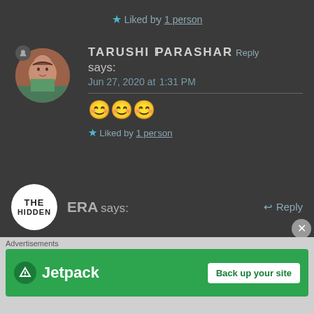★ Liked by 1 person
TARUSHI PARASHAR Reply
says:
Jun 27, 2020 at 1:31 PM
😊😊😊
★ Liked by 1 person
ERA says:   ↩ Reply
[Figure (screenshot): Jetpack advertisement banner: green background with Jetpack logo and 'Back up your site' button]
Advertisements